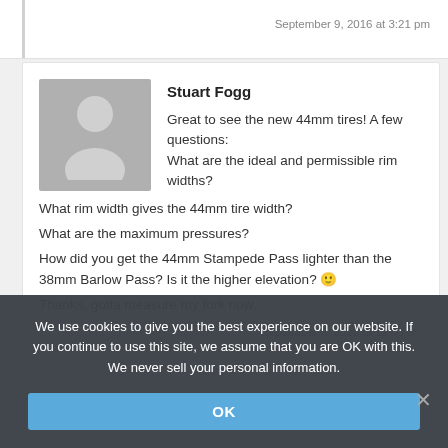September 9, 2016 at 3:21 pm
Stuart Fogg
Great to see the new 44mm tires! A few questions:
What are the ideal and permissible rim widths?
What rim width gives the 44mm tire width?
What are the maximum pressures?
How did you get the 44mm Stampede Pass lighter than the 38mm Barlow Pass? Is it the higher elevation? 🙂
Thanks, gotta measure my fork now.
September 9, 2016 at 12:03 am
We use cookies to give you the best experience on our website. If you continue to use this site, we assume that you are OK with this. We never sell your personal information.
OK